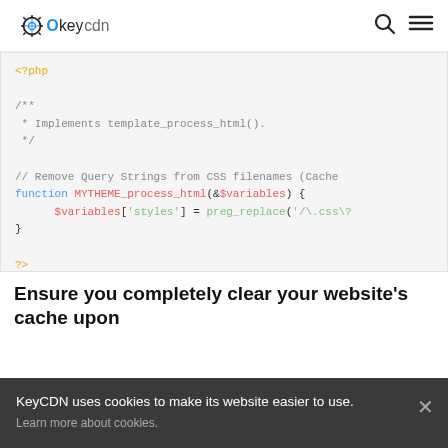KeyCDN
[Figure (screenshot): PHP code snippet with syntax highlighting showing a doc comment and function MYTHEME_process_html that removes query strings from CSS filenames]
Ensure you completely clear your website's cache upon
KeyCDN uses cookies to make its website easier to use. Learn more about cookies.